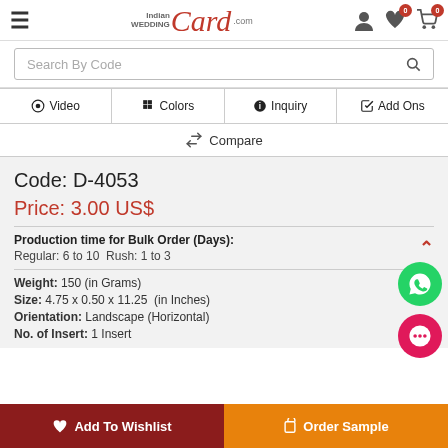[Figure (screenshot): IndianWeddingCard.com website header with hamburger menu, logo, user icon, wishlist icon with badge 0, cart icon with badge 0]
[Figure (screenshot): Search bar with placeholder text 'Search By Code' and a search icon]
[Figure (screenshot): Navigation tabs: Video, Colors, Inquiry, Add Ons]
[Figure (screenshot): Compare tab row with retweet-style icon]
Code: D-4053
Price: 3.00 US$
Production time for Bulk Order (Days): Regular: 6 to 10  Rush: 1 to 3
Weight: 150 (in Grams)
Size: 4.75 x 0.50 x 11.25  (in Inches)
Orientation: Landscape (Horizontal)
No. of Insert: 1 Insert
Add To Wishlist
Order Sample